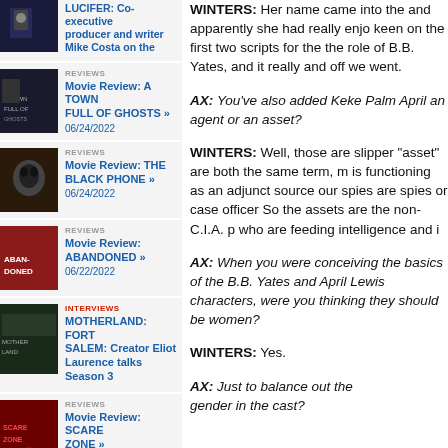LUCIFER: Co-executive producer and writer Mike Costa on the
REVIEWS
Movie Review: A TOWN FULL OF GHOSTS »
06/24/2022
REVIEWS
Movie Review: THE BLACK PHONE »
06/24/2022
REVIEWS
Movie Review: ABANDONED »
06/22/2022
INTERVIEWS
MOTHERLAND: FORT SALEM: Creator Eliot Laurence talks Season 3
REVIEWS
Movie Review: SCARE ZONE »
06/18/2022
WINTERS: Her name came into the and apparently she had really enjoy keen on the first two scripts for th the role of B.B. Yates, and it really and off we went.
AX: You've also added Keke Palm April an agent or an asset?
WINTERS: Well, those are slipper "asset" are both the same term, m is functioning as an adjunct source our spies are spies or case officer So the assets are the non-C.I.A. p who are feeding intelligence and i
AX: When you were conceiving the basics of the B.B. Yates and April Lewis characters, were you thinking they should be women?
WINTERS: Yes.
AX: Just to balance out the gender in the cast?